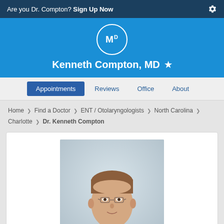Are you Dr. Compton? Sign Up Now
Kenneth Compton, MD
Appointments | Reviews | Office | About
Home > Find a Doctor > ENT / Otolaryngologists > North Carolina > Charlotte > Dr. Kenneth Compton
[Figure (photo): Professional headshot of Dr. Kenneth Compton, a middle-aged man with glasses and short reddish-brown hair wearing a dark suit and tie, photographed against a light gray background.]